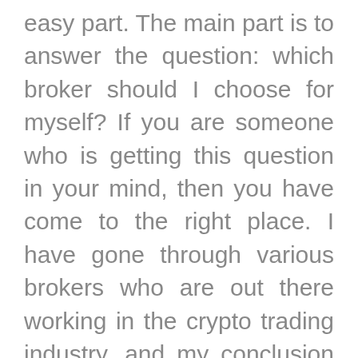easy part. The main part is to answer the question: which broker should I choose for myself? If you are someone who is getting this question in your mind, then you have come to the right place. I have gone through various brokers who are out there working in the crypto trading industry, and my conclusion led me to a good brokerage firm known as EZDSK. But my conclusion will not do the best justice to your right of choosing what is best for you unless you choose it yourself. So I am going to tell you everything that you need to know